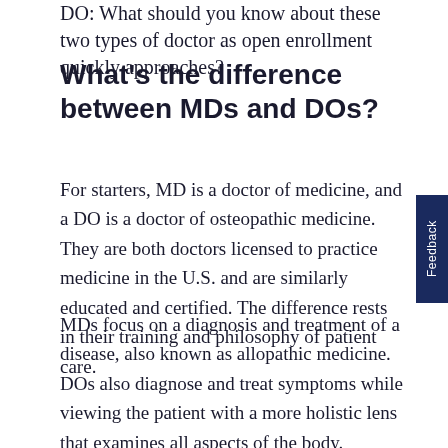DO: What should you know about these two types of doctor as open enrollment quickly approaches?
What's the difference between MDs and DOs?
For starters, MD is a doctor of medicine, and a DO is a doctor of osteopathic medicine. They are both doctors licensed to practice medicine in the U.S. and are similarly educated and certified. The difference rests in their training and philosophy of patient care.
MDs focus on a diagnosis and treatment of a disease, also known as allopathic medicine. DOs also diagnose and treat symptoms while viewing the patient with a more holistic lens that examines all aspects of the body.